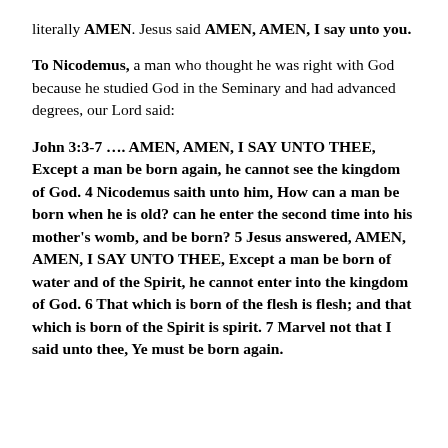literally AMEN. Jesus said AMEN, AMEN, I say unto you.
To Nicodemus, a man who thought he was right with God because he studied God in the Seminary and had advanced degrees, our Lord said:
John 3:3-7 …. AMEN, AMEN, I SAY UNTO THEE, Except a man be born again, he cannot see the kingdom of God. 4 Nicodemus saith unto him, How can a man be born when he is old? can he enter the second time into his mother's womb, and be born? 5 Jesus answered, AMEN, AMEN, I SAY UNTO THEE, Except a man be born of water and of the Spirit, he cannot enter into the kingdom of God. 6 That which is born of the flesh is flesh; and that which is born of the Spirit is spirit. 7 Marvel not that I said unto thee, Ye must be born again.